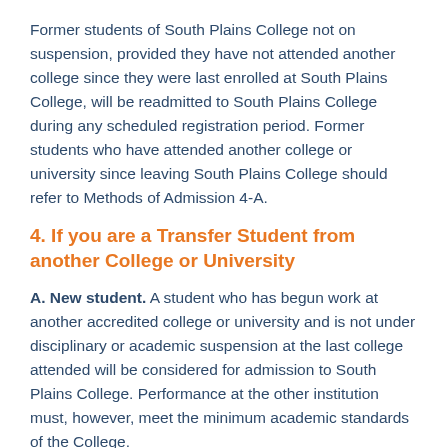Former students of South Plains College not on suspension, provided they have not attended another college since they were last enrolled at South Plains College, will be readmitted to South Plains College during any scheduled registration period. Former students who have attended another college or university since leaving South Plains College should refer to Methods of Admission 4-A.
4. If you are a Transfer Student from another College or University
A. New student. A student who has begun work at another accredited college or university and is not under disciplinary or academic suspension at the last college attended will be considered for admission to South Plains College. Performance at the other institution must, however, meet the minimum academic standards of the College.
A student from another college seeking admission to South